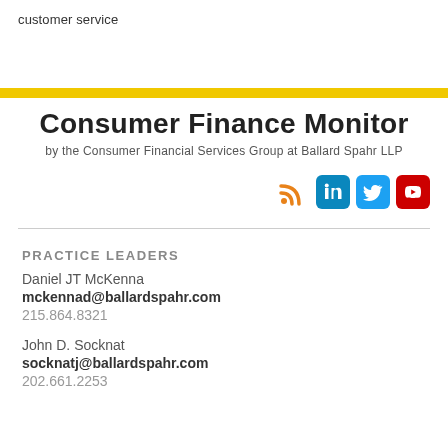customer service
Consumer Finance Monitor
by the Consumer Financial Services Group at Ballard Spahr LLP
[Figure (other): Social media icons: RSS, LinkedIn, Twitter, YouTube]
PRACTICE LEADERS
Daniel JT McKenna
mckennad@ballardspahr.com
215.864.8321
John D. Socknat
socknatj@ballardspahr.com
202.661.2253